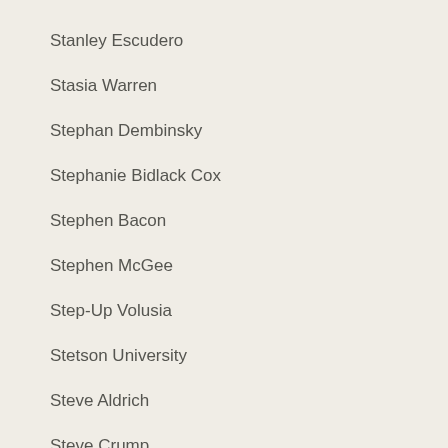Stanley Escudero
Stasia Warren
Stephan Dembinsky
Stephanie Bidlack Cox
Stephen Bacon
Stephen McGee
Step-Up Volusia
Stetson University
Steve Aldrich
Steve Crump
Steve Koenig